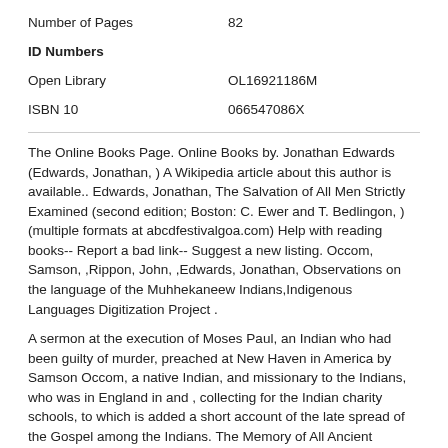| Number of Pages | 82 |
| ID Numbers |  |
| Open Library | OL16921186M |
| ISBN 10 | 066547086X |
The Online Books Page. Online Books by. Jonathan Edwards (Edwards, Jonathan, ) A Wikipedia article about this author is available.. Edwards, Jonathan, The Salvation of All Men Strictly Examined (second edition; Boston: C. Ewer and T. Bedlingon, ) (multiple formats at abcdfestivalgoa.com) Help with reading books-- Report a bad link-- Suggest a new listing. Occom, Samson, ,Rippon, John, ,Edwards, Jonathan, Observations on the language of the Muhhekaneew Indians,Indigenous Languages Digitization Project .
A sermon at the execution of Moses Paul, an Indian who had been guilty of murder, preached at New Haven in America by Samson Occom, a native Indian, and missionary to the Indians, who was in England in and , collecting for the Indian charity schools, to which is added a short account of the late spread of the Gospel among the Indians. The Memory of All Ancient Customs Midtrød, Tom Arne Published by Cornell University Press Midtrød, Tom Arne. Observations on the Language of the Muhhekaneew Indians. New Haven: Josiah Meigs, “Observations of the Indians from Jasper Danckaerts’s Journal, –” William and Mary Quarterly, 3rd ser., (): –